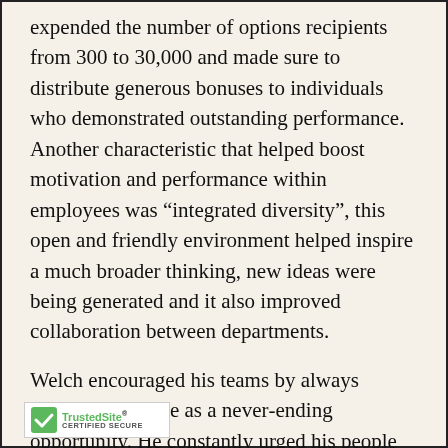expended the number of options recipients from 300 to 30,000 and made sure to distribute generous bonuses to individuals who demonstrated outstanding performance. Another characteristic that helped boost motivation and performance within employees was “integrated diversity”, this open and friendly environment helped inspire a much broader thinking, new ideas were being generated and it also improved collaboration between departments.
Welch encouraged his teams by always looking at change as a never-ending opportunity. He constantly urged his people to reinvigorate their business model before someone else did. [TrustedSite badge] gy helped him gain new market [partially obscured] other CEOs had in positions